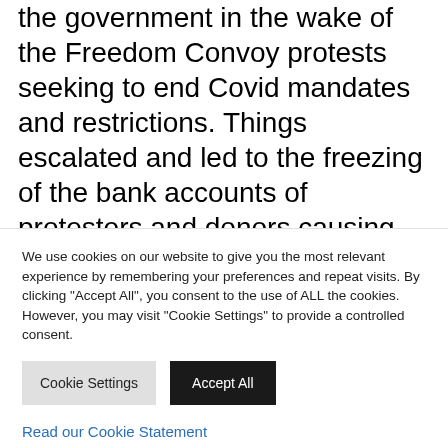the government in the wake of the Freedom Convoy protests seeking to end Covid mandates and restrictions. Things escalated and led to the freezing of the bank accounts of protesters and donors causing an outcry.
After the announcement of the revocation of the Emergencies Act, the government has begun taking steps to unfreeze the affected
We use cookies on our website to give you the most relevant experience by remembering your preferences and repeat visits. By clicking "Accept All", you consent to the use of ALL the cookies. However, you may visit "Cookie Settings" to provide a controlled consent.
Cookie Settings | Accept All
Read our Cookie Statement